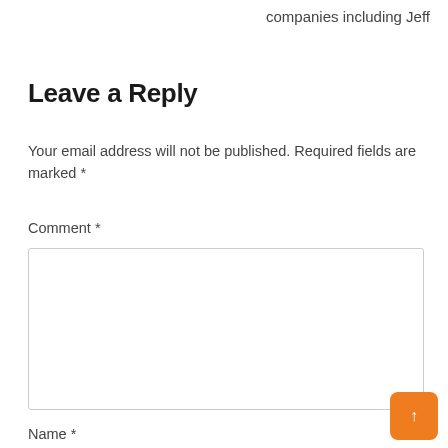companies including Jeff
Leave a Reply
Your email address will not be published. Required fields are marked *
Comment *
Name *